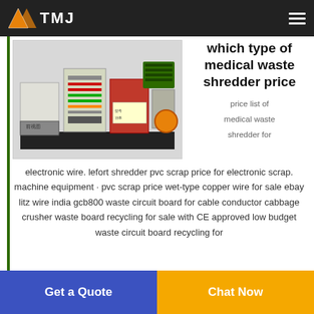TMJ
[Figure (photo): Industrial medical waste shredder machine with orange/red housing, control panel, and conveyor components on a black base]
which type of medical waste shredder price
price list of medical waste shredder for electronic wire. lefort shredder pvc scrap price for electronic scrap. machine equipment · pvc scrap price wet-type copper wire for sale ebay litz wire india gcb800 waste circuit board for cable conductor cabbage crusher waste board recycling for sale with CE approved low budget waste circuit board recycling for
Get a Quote
Chat Now